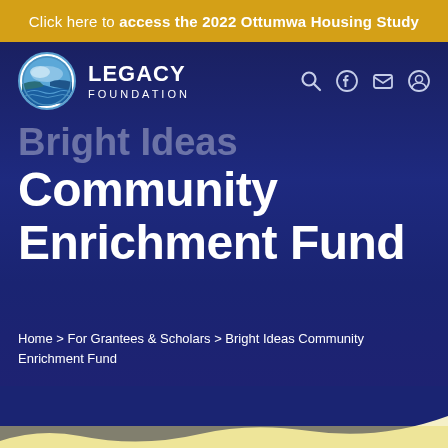Click here to access the 2022 Ottumwa Housing Study
[Figure (logo): Legacy Foundation logo with circular icon showing landscape with water and sky, and text LEGACY FOUNDATION]
Bright Ideas Community Enrichment Fund
Home > For Grantees & Scholars > Bright Ideas Community Enrichment Fund